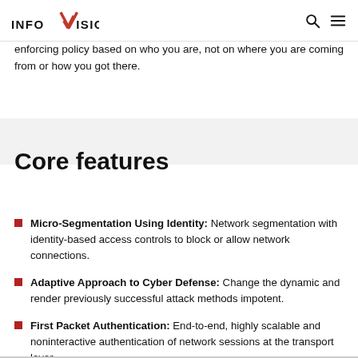INFOVISION
enforcing policy based on who you are, not on where you are coming from or how you got there.
Core features
Micro-Segmentation Using Identity: Network segmentation with identity-based access controls to block or allow network connections.
Adaptive Approach to Cyber Defense: Change the dynamic and render previously successful attack methods impotent.
First Packet Authentication: End-to-end, highly scalable and noninteractive authentication of network sessions at the transport layer.